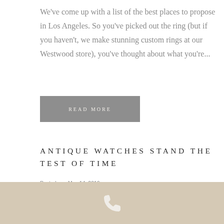We've come up with a list of the best places to propose in Los Angeles. So you've picked out the ring (but if you haven't, we make stunning custom rings at our Westwood store), you've thought about what you're...
READ MORE
ANTIQUE WATCHES STAND THE TEST OF TIME
Posted on   May 14, 2016
|  in Accessories, Antique, Jewelry, Los Angeles, Watches
|  by Westwood Jewelers
[Figure (other): Beige/tan footer bar with a white phone icon in the center]